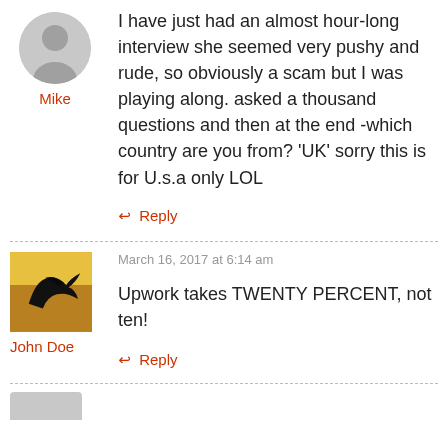[Figure (photo): Gray circle avatar placeholder for user Mike]
Mike
I have just had an almost hour-long interview she seemed very pushy and rude, so obviously a scam but I was playing along. asked a thousand questions and then at the end -which country are you from? 'UK' sorry this is for U.s.a only LOL
↳ Reply
[Figure (photo): Dark silhouette of a bird against a golden/yellow sky background - avatar photo for John Doe]
John Doe
March 16, 2017 at 6:14 am
Upwork takes TWENTY PERCENT, not ten!
↳ Reply
[Figure (photo): Partial gray avatar placeholder at bottom of page]